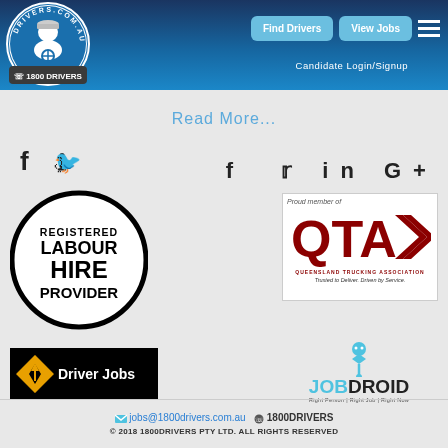[Figure (logo): drivers.com.au logo circle with driver illustration and 1800 DRIVERS text]
Find Drivers  View Jobs
Candidate Login/Signup
Read More...
[Figure (infographic): Social media icons: f (Facebook), bird (Twitter), in (LinkedIn), G+ (Google Plus)]
[Figure (logo): Registered Labour Hire Provider circle badge in black and white]
[Figure (logo): QTA Queensland Trucking Association - Proud member of badge. Trusted to Deliver. Driven by Service.]
[Figure (logo): Driver Jobs black badge with yellow diamond logo]
[Figure (logo): JOBDROID logo with robot icon. Right Person | Right Job | Right Now]
jobs@1800drivers.com.au  1800DRIVERS
© 2018 1800DRIVERS PTY LTD. ALL RIGHTS RESERVED